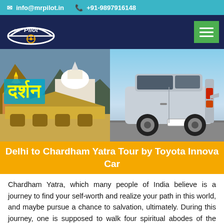info@mrpilot.in  +91-9897916148
[Figure (logo): Mr. Pilot logo with car/chauffeur icon on dark blue nav bar with green hamburger menu]
[Figure (photo): Collage of Chardham temples (Badrinath, Kedarnath) on left with Hindi text darshan, and Toyota Innova car on right against blue sky]
Delhi to Chardham Yatra Tour by Toyota Innova Car
Chardham Yatra, which many people of India believe is a journey to find your self-worth and realize your path in this world, and maybe pursue a chance to salvation, ultimately. During this journey, one is supposed to walk four spiritual abodes of the almighty perfectly tucked away in the wilderness of the Himalayas.